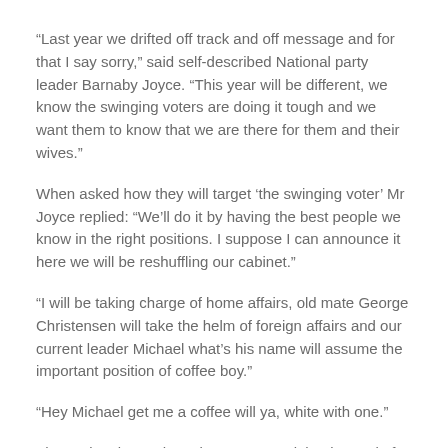“Last year we drifted off track and off message and for that I say sorry,” said self-described National party leader Barnaby Joyce. “This year will be different, we know the swinging voters are doing it tough and we want them to know that we are there for them and their wives.”
When asked how they will target ‘the swinging voter’ Mr Joyce replied: “We’ll do it by having the best people we know in the right positions. I suppose I can announce it here we will be reshuffling our cabinet.”
“I will be taking charge of home affairs, old mate George Christensen will take the helm of foreign affairs and our current leader Michael what’s his name will assume the important position of coffee boy.”
“Hey Michael get me a coffee will ya, white with one.”
The National party has also announced that instead of how to vote cards they will hand out how to vote key chains that they encourage their voters to put into a bowl after they have voted.